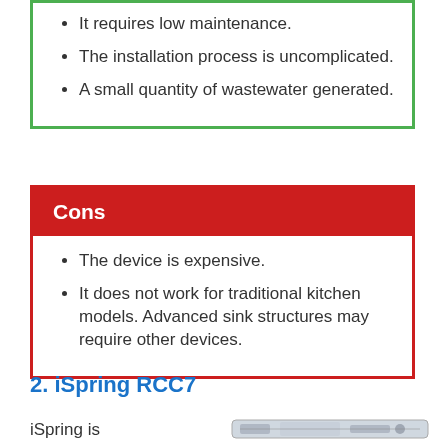It requires low maintenance.
The installation process is uncomplicated.
A small quantity of wastewater generated.
Cons
The device is expensive.
It does not work for traditional kitchen models. Advanced sink structures may require other devices.
2. iSpring RCC7
iSpring is